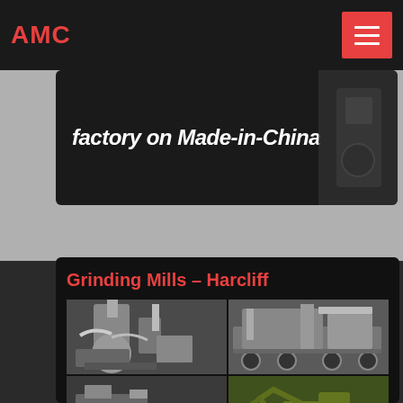AMC
factory on Made-in-China
Grinding Mills – Harcliff
[Figure (photo): Four-panel composite photo showing industrial grinding mill equipment: top-left shows a vertical mill with ductwork, top-right shows a mobile crushing/screening plant on a trailer, bottom-left shows a jaw crusher or ball mill drive assembly, bottom-right shows a yellow wheeled excavator or front-end loader working on red earth/ore stockpile.]
GRINDING MILLS – BALL Mills, SAG Mills, AG Mills & ROD Mills. We refurbish, design and manufacture an extensive range of high-quality mills and mill components to